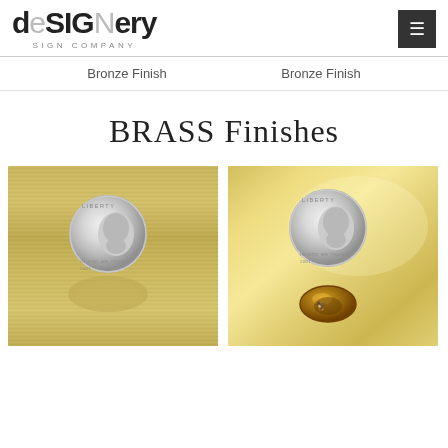[Figure (logo): deSIGNery Sign Company logo with mixed case stylized text]
Bronze Finish
Bronze Finish
BRASS Finishes
[Figure (photo): Close-up photo of a US dime coin on brushed brass finish surface showing horizontal brush marks and coin reflection]
[Figure (photo): Close-up photo of a US dime coin on shiny brass finish surface with a brass dot/standoff below the coin]